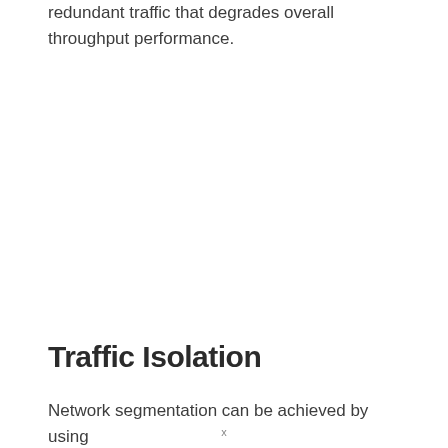redundant traffic that degrades overall throughput performance.
Traffic Isolation
Network segmentation can be achieved by using